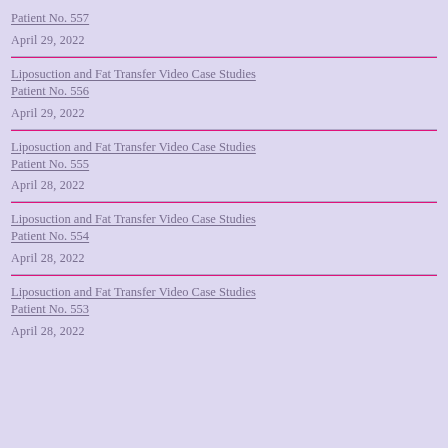Patient No. 557
April 29, 2022
Liposuction and Fat Transfer Video Case Studies Patient No. 556
April 29, 2022
Liposuction and Fat Transfer Video Case Studies Patient No. 555
April 28, 2022
Liposuction and Fat Transfer Video Case Studies Patient No. 554
April 28, 2022
Liposuction and Fat Transfer Video Case Studies Patient No. 553
April 28, 2022